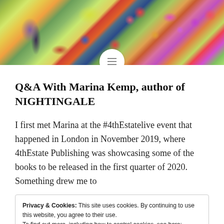[Figure (photo): Colorful impressionist-style painting of a garden with trees, flowers, and vibrant colors in greens, reds, purples, and yellows. A menu/navigation icon (three horizontal lines) appears in a white circle at the bottom center of the image.]
Q&A With Marina Kemp, author of NIGHTINGALE
I first met Marina at the #4thEstatelive event that happened in London in November 2019, where 4thEstate Publishing was showcasing some of the books to be released in the first quarter of 2020. Something drew me to
Privacy & Cookies: This site uses cookies. By continuing to use this website, you agree to their use.
To find out more, including how to control cookies, see here: Cookie Policy
Close and accept